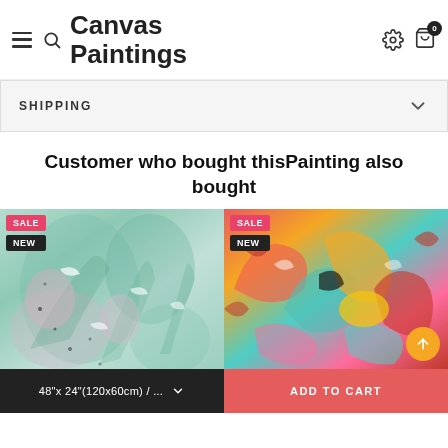Canvas Paintings
SHIPPING
Customer who bought thisPainting also bought
[Figure (photo): Abstract botanical painting with teal and green tones, marked SALE and NEW]
[Figure (photo): Colorful abstract painting with red, yellow, green, and blue tones, marked SALE and NEW]
48"x 24"(120x60cm) / ...
ADD TO CART